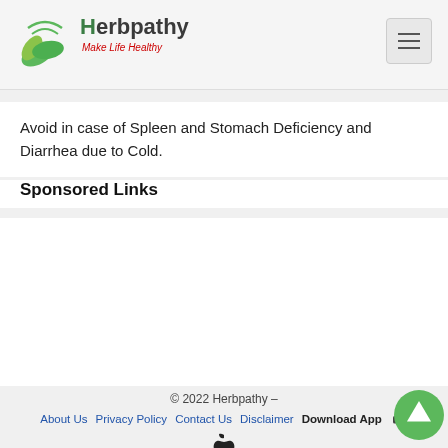Herbpathy — Make Life Healthy
Avoid in case of Spleen and Stomach Deficiency and Diarrhea due to Cold.
Sponsored Links
© 2022 Herbpathy – | About Us | Privacy Policy | Contact Us | Disclaimer | Download App